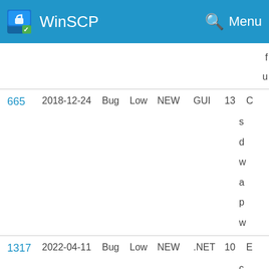WinSCP   Menu
| ID | Date | Type | Priority | Status | Category | Votes | Description |
| --- | --- | --- | --- | --- | --- | --- | --- |
| 665 | 2018-12-24 | Bug | Low | NEW | GUI | 13 | C... s... d... w... a... p... w... |
| 1317 | 2022-04-11 | Bug | Low | NEW | .NET | 10 | E... c... to... |